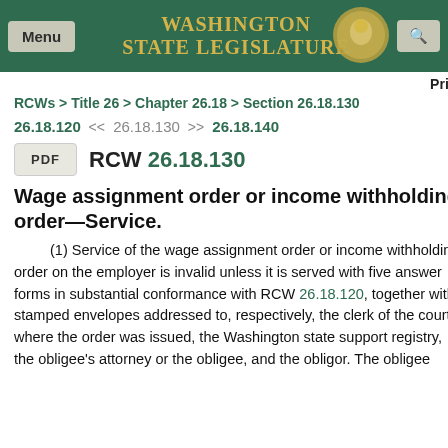Washington State Legislature
Print
RCWs > Title 26 > Chapter 26.18 > Section 26.18.130
26.18.120  << 26.18.130 >>  26.18.140
PDF   RCW 26.18.130
Wage assignment order or income withholding order—Service.
(1) Service of the wage assignment order or income withholding order on the employer is invalid unless it is served with five answer forms in substantial conformance with RCW 26.18.120, together with stamped envelopes addressed to, respectively, the clerk of the court where the order was issued, the Washington state support registry, the obligee's attorney or the obligee, and the obligor. The obligee